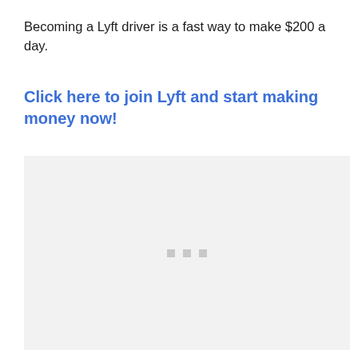Becoming a Lyft driver is a fast way to make $200 a day.
Click here to join Lyft and start making money now!
[Figure (other): Loading placeholder image with three grey dots centered in a light grey rectangle]